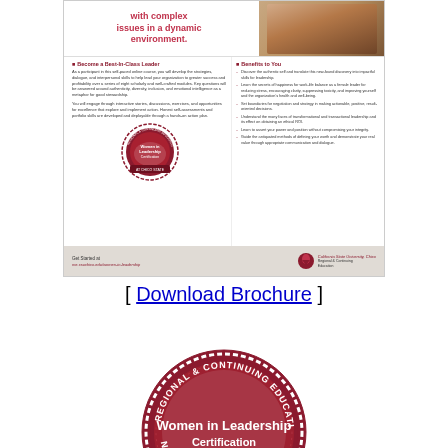[Figure (illustration): Brochure for Women in Leadership Certification at Chico State showing program details, benefits, badge/seal, and footer with URL]
[ Download Brochure ]
[Figure (logo): Regional & Continuing Education Women in Leadership Certification stamp/seal in dark red]